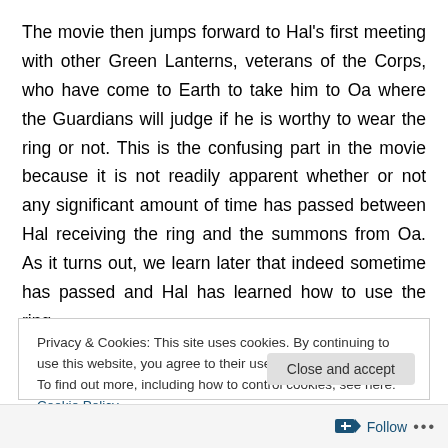The movie then jumps forward to Hal's first meeting with other Green Lanterns, veterans of the Corps, who have come to Earth to take him to Oa where the Guardians will judge if he is worthy to wear the ring or not. This is the confusing part in the movie because it is not readily apparent whether or not any significant amount of time has passed between Hal receiving the ring and the summons from Oa. As it turns out, we learn later that indeed sometime has passed and Hal has learned how to use the ring.
Privacy & Cookies: This site uses cookies. By continuing to use this website, you agree to their use.
To find out more, including how to control cookies, see here: Cookie Policy
Follow ···